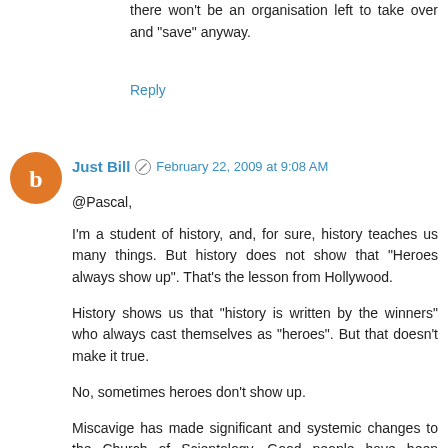there won't be an organisation left to take over and "save" anyway.
Reply
Just Bill · February 22, 2009 at 9:08 AM
@Pascal,
I'm a student of history, and, for sure, history teaches us many things. But history does not show that "Heroes always show up". That's the lesson from Hollywood.
History shows us that "history is written by the winners" who always cast themselves as "heroes". But that doesn't make it true.
No, sometimes heroes don't show up.
Miscavige has made significant and systemic changes to the Church of Scientology. Good people have been destroyed. Bad people, and useless sycophants have been put in charge. Changes have been made to the